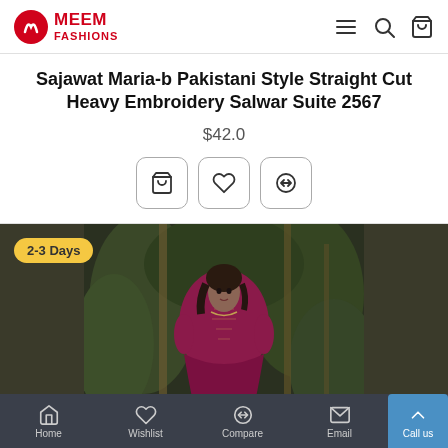MEEM FASHIONS
Sajawat Maria-b Pakistani Style Straight Cut Heavy Embroidery Salwar Suite 2567
$42.0
[Figure (photo): A model wearing a red/magenta embroidered Pakistani salwar suit, photographed outdoors with green foliage background. Badge showing '2-3 Days' in yellow.]
Home  Wishlist  Compare  Email  Call us